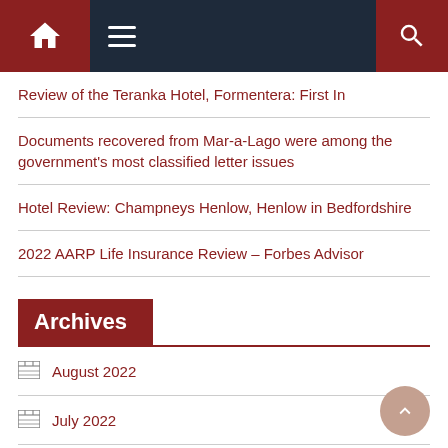Navigation bar with home, menu, and search icons
Review of the Teranka Hotel, Formentera: First In
Documents recovered from Mar-a-Lago were among the government's most classified letter issues
Hotel Review: Champneys Henlow, Henlow in Bedfordshire
2022 AARP Life Insurance Review – Forbes Advisor
Archives
August 2022
July 2022
June 2022